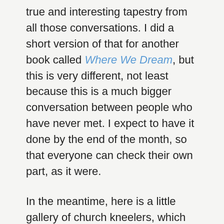true and interesting tapestry from all those conversations. I did a short version of that for another book called Where We Dream, but this is very different, not least because this is a much bigger conversation between people who have never met. I expect to have it done by the end of the month, so that everyone can check their own part, as it were.
In the meantime, here is a little gallery of church kneelers, which are for me the very symbols of art that in the service of life, faith, community and memory. It is also an art without pretention or, it seems to me, egotism.